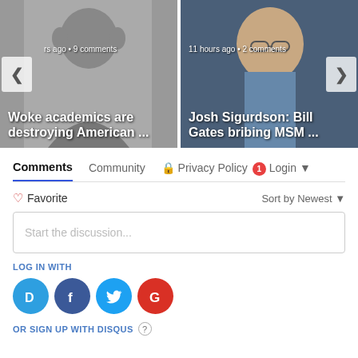[Figure (screenshot): Carousel with two article thumbnails. Left card shows a man with hands on ears, meta text 'rs ago • 9 comments', headline 'Woke academics are destroying American ...'. Right card shows Bill Gates, meta text '11 hours ago • 2 comments', headline 'Josh Sigurdson: Bill Gates bribing MSM ...'. Left and right navigation arrows visible.]
Comments
Community
Privacy Policy
Login
♡ Favorite
Sort by Newest
Start the discussion...
LOG IN WITH
OR SIGN UP WITH DISQUS